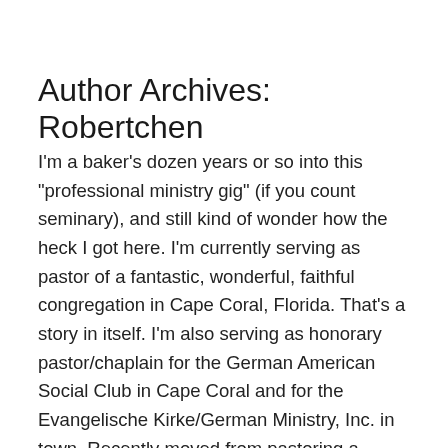Author Archives: Robertchen
I'm a baker's dozen years or so into this "professional ministry gig" (if you count seminary), and still kind of wonder how the heck I got here. I'm currently serving as pastor of a fantastic, wonderful, faithful congregation in Cape Coral, Florida. That's a story in itself. I'm also serving as honorary pastor/chaplain for the German American Social Club in Cape Coral and for the Evangelische Kirke/German Ministry, Inc. in town. Recently moved from pastoring a weirdly wonderful congregation in Tulsa, OK. That first call ran from 2012 to 2021. All three congregations are many literal and cultural miles removed from my home in one of Detroit's first-ring suburbs. As a holdover from a previous life, I'm a recovering museum